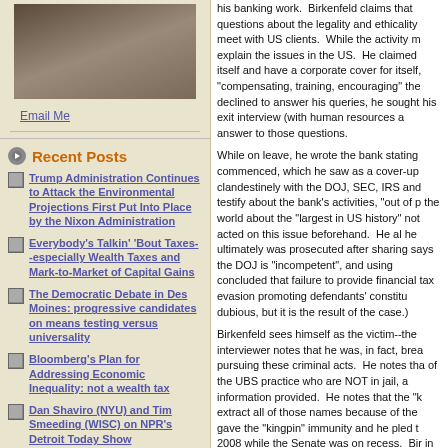[Figure (photo): Person seated in chair, partially visible photo in sidebar]
Email Me
Recent Posts
Trump Administration Continues to Attack the Environmental Projections First Put Into Place by the Nixon Administration
Everybody's Talkin' 'Bout Taxes--especially Wealth Taxes and Mark-to-Market of Capital Gains
The Democratic Debate in Des Moines: progressive candidates on means testing versus universality
Bloomberg's Plan for Addressing Economic Inequality: not a wealth tax
Dan Shaviro (NYU) and Tim Smeeding (WISC) on NPR's Detroit Today Show
Trump celebrates his (very expensive) tax cuts for himself and his rich golfing buddies
What is the GOP goal? A return
his banking work.  Birkenfeld claims that questions about the legality and ethicality meet with US clients.  While the activity m explain the issues in the US.  He claimed itself and have a corporate cover for itself, "compensating, training, encouraging" the declined to answer his queries, he sought his exit interview (with human resources a answer to those questions.
While on leave, he wrote the bank stating commenced, which he saw as a cover-up clandestinely with the DOJ, SEC, IRS and testify about the bank's activities, "out of p the world about the "largest in US history" not acted on this issue beforehand.  He al he ultimately was prosecuted after sharing says the DOJ is "incompetent", and using concluded that failure to provide financial tax evasion promoting defendants' constitu dubious, but it is the result of the case.)
Birkenfeld sees himself as the victim--the interviewer notes that he was, in fact, brea pursuing these criminal acts.  He notes tha of the UBS practice who are NOT in jail, a information provided.  He notes that the "k extract all of those names because of the gave the "kingpin" immunity and he pled t 2008 while the Senate was on recess.  Bir in the scandal, so Birkenfeld thinks this wi criminal acts in the future.  They have pro notes it will take them a long time to prose
There is more to the interview, and more i
September 08, 2010 in Banks and Finan
Tags: ba